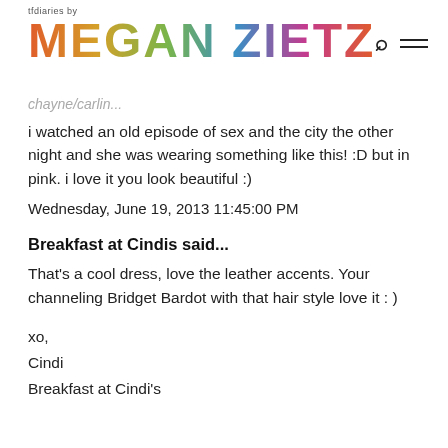tfdiaries by MEGAN ZIETZ
chayne/carlin...
i watched an old episode of sex and the city the other night and she was wearing something like this! :D but in pink. i love it you look beautiful :)
Wednesday, June 19, 2013 11:45:00 PM
Breakfast at Cindis said...
That's a cool dress, love the leather accents. Your channeling Bridget Bardot with that hair style love it : )
xo,
Cindi
Breakfast at Cindi's